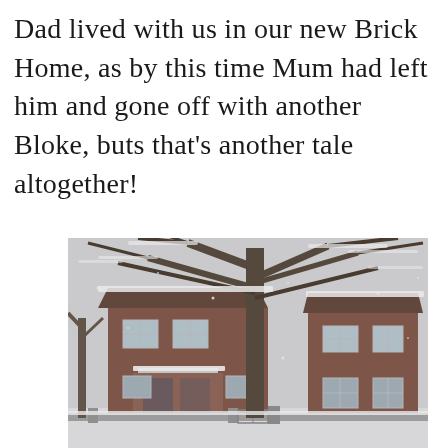Dad lived with us in our new Brick Home, as by this time Mum had left him and gone off with another Bloke, buts that's another tale altogether!
[Figure (photo): Black and white photograph of a two-storey brick house in winter, covered in snow. Large bare trees with snow on their branches are in the foreground. The house has white-framed windows and a porch entrance. A garden wall and gate are visible at the front.]